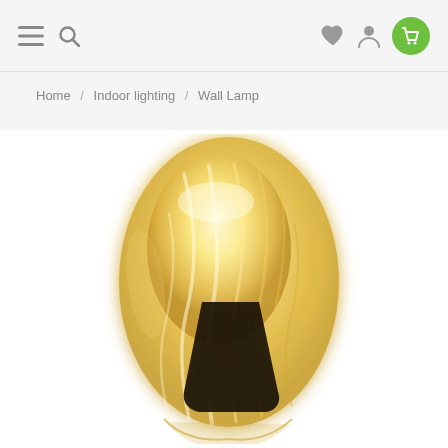Navigation bar with menu, search, wishlist, account, and cart icons
Home / Indoor lighting / Wall Lamp
[Figure (photo): A sculptural wall lamp with a glowing golden/cream-colored organic-shaped glass shade and a dark triangular black mounting bracket, displayed against a white background.]